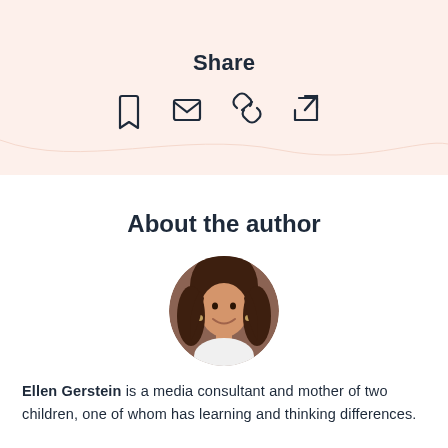Share
[Figure (infographic): Row of four share icons: bookmark, envelope/mail, link/chain, and external link arrow]
About the author
[Figure (photo): Circular profile photo of Ellen Gerstein, a woman with long brown hair, smiling, wearing a white top]
Ellen Gerstein is a media consultant and mother of two children, one of whom has learning and thinking differences.